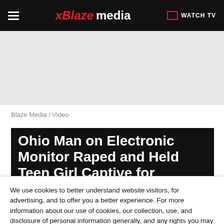Blaze Media | WATCH TV
Blaze Media / Video
Ohio Man on Electronic Monitor Raped and Held Teen Girl Captive for Months, Court...
We use cookies to better understand website visitors, for advertising, and to offer you a better experience. For more information about our use of cookies, our collection, use, and disclosure of personal information generally, and any rights you may have to access, delete, or opt out of the sale of your personal information, please view our Privacy Policy.
Learn more
CLOSE